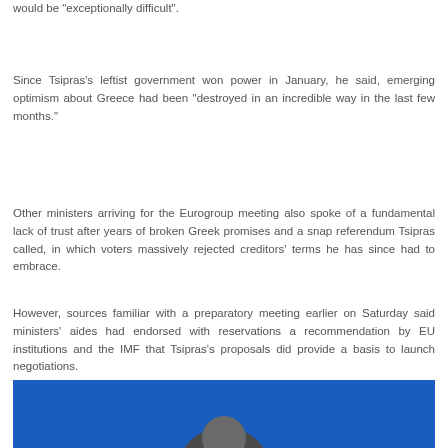would be "exceptionally difficult".
Since Tsipras's leftist government won power in January, he said, emerging optimism about Greece had been "destroyed in an incredible way in the last few months."
Other ministers arriving for the Eurogroup meeting also spoke of a fundamental lack of trust after years of broken Greek promises and a snap referendum Tsipras called, in which voters massively rejected creditors' terms he has since had to embrace.
However, sources familiar with a preparatory meeting earlier on Saturday said ministers' aides had endorsed with reservations a recommendation by EU institutions and the IMF that Tsipras's proposals did provide a basis to launch negotiations.
[Figure (photo): Photo of a person against a blue background, showing the top of a head at bottom of image]